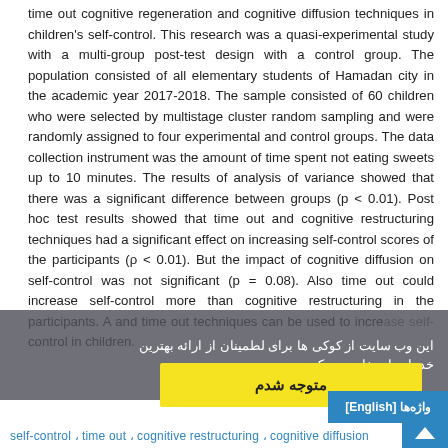time out cognitive regeneration and cognitive diffusion techniques in children's self-control. This research was a quasi-experimental study with a multi-group post-test design with a control group. The population consisted of all elementary students of Hamadan city in the academic year 2017-2018. The sample consisted of 60 children who were selected by multistage cluster random sampling and were randomly assigned to four experimental and control groups. The data collection instrument was the amount of time spent not eating sweets up to 10 minutes. The results of analysis of variance showed that there was a significant difference between groups (p < 0.01). Post hoc test results showed that time out and cognitive restructuring techniques had a significant effect on increasing self-control scores of the participants (ρ < 0.01). But the impact of cognitive diffusion on self-control was not significant (p = 0.08). Also time out could increase self-control more than cognitive restructuring in the participants. A... and time out techniques can be used to increase self-control in children.
این وب سایت از کوکی ها برای لطمینان از ارائه بهترین خدمات استفاده می کند.
متوجه شدم
واژه ها [English]
self-control ، time out ، cognitive restructuring ، cognitive diffusion